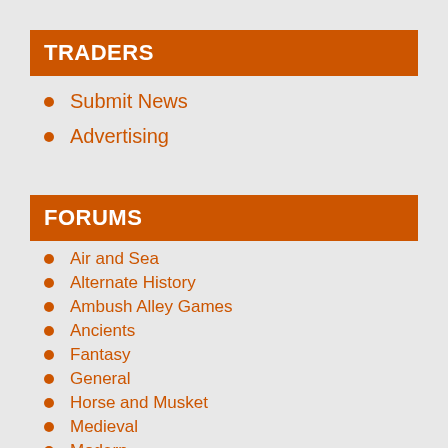TRADERS
Submit News
Advertising
FORUMS
Air and Sea
Alternate History
Ambush Alley Games
Ancients
Fantasy
General
Horse and Musket
Medieval
Modern
Nordic Weasel Games
Renaissance
Sci Fi